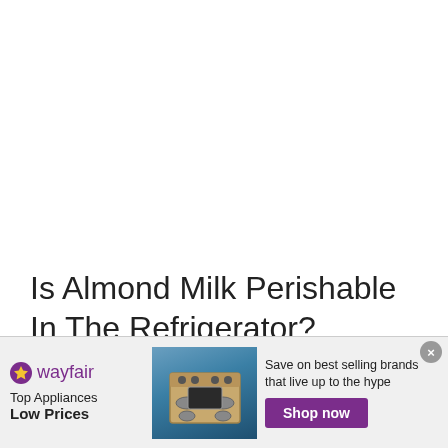Is Almond Milk Perishable In The Refrigerator?
When Shelf-Stable/Ultra-Pasteurized Almond Milk Starts to Go Bad (It's refrigerated together with smaller...
[Figure (infographic): Wayfair advertisement banner showing Top Appliances Low Prices, an image of a stove/range appliance, and a Shop now button with text Save on best selling brands that live up to the hype]